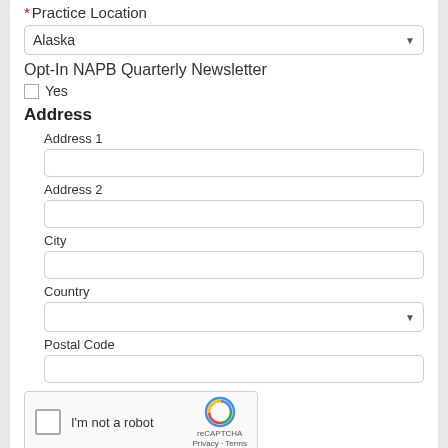* Practice Location
Alaska (dropdown)
Opt-In NAPB Quarterly Newsletter
Yes (checkbox)
Address
Address 1
Address 2
City
Country
Postal Code
[Figure (screenshot): reCAPTCHA widget with checkbox and 'I'm not a robot' text, reCAPTCHA logo and Privacy/Terms links]